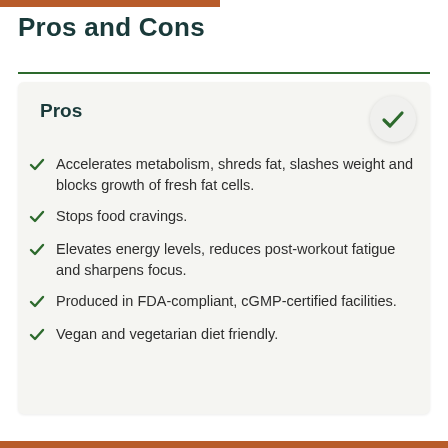Pros and Cons
Pros
Accelerates metabolism, shreds fat, slashes weight and blocks growth of fresh fat cells.
Stops food cravings.
Elevates energy levels, reduces post-workout fatigue and sharpens focus.
Produced in FDA-compliant, cGMP-certified facilities.
Vegan and vegetarian diet friendly.